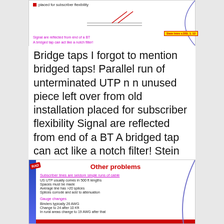[Figure (illustration): Slide fragment showing bullet point 'placed for subscriber flexibility' with diagonal lines diagram and magenta caption text 'Signal are reflected from end of a BT / A bridged tap can act like a notch filter!']
Bridge taps I forgot to mention bridged taps! Parallel run of unterminated UTP n n unused piece left over from old installation placed for subscriber flexibility Signal are reflected from end of a BT A bridged tap can act like a notch filter! Stein Intro x. DSL 1. 12
[Figure (illustration): Slide titled 'Other problems' with RAD badge. Lists: 'Subscriber lines are seldom single runs of cable' with bullet points 'US UTP usually comes in 500 ft lengths', 'Spaces must be made', 'Average line has >20 splices', 'Splices corrode and add to attenuation'. Then 'Gauge changes' with bullet points 'Binders typically 26 AWG', 'Change to 24 after 10 Kft', 'In rural areas change to 19 AWG after that'.]